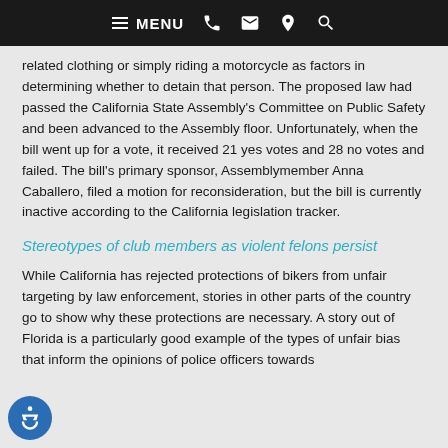MENU
related clothing or simply riding a motorcycle as factors in determining whether to detain that person. The proposed law had passed the California State Assembly's Committee on Public Safety and been advanced to the Assembly floor. Unfortunately, when the bill went up for a vote, it received 21 yes votes and 28 no votes and failed. The bill's primary sponsor, Assemblymember Anna Caballero, filed a motion for reconsideration, but the bill is currently inactive according to the California legislation tracker.
Stereotypes of club members as violent felons persist
While California has rejected protections of bikers from unfair targeting by law enforcement, stories in other parts of the country go to show why these protections are necessary. A story out of Florida is a particularly good example of the types of unfair bias that inform the opinions of police officers towards